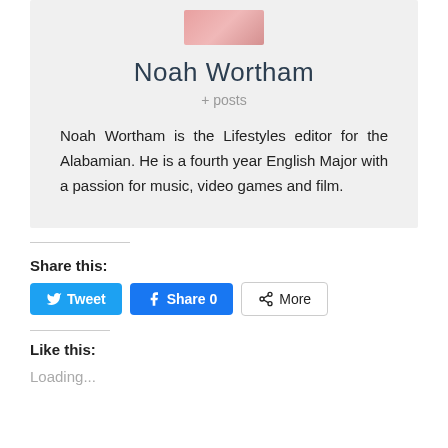[Figure (photo): Partial avatar/profile photo at top of card]
Noah Wortham
+ posts
Noah Wortham is the Lifestyles editor for the Alabamian. He is a fourth year English Major with a passion for music, video games and film.
Share this:
Tweet
Share 0
More
Like this:
Loading...